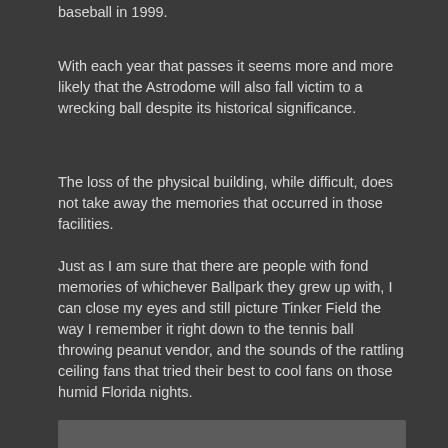baseball in 1999.
With each year that passes it seems more and more likely that the Astrodome will also fall victim to a wrecking ball despite its historical significance.
The loss of the physical building, while difficult, does not take away the memories that occurred in those facilities.
Just as I am sure that there are people with fond memories of whichever Ballpark they grew up with, I can close my eyes and still picture Tinker Field the way I remember it right down to the tennis ball throwing peanut vendor, and the sounds of the rattling ceiling fans that tried their best to cool fans on those humid Florida nights.
I prefer to think of Tinker Field like it was, and not like the neglected facility it became. The wheel of progress is always turning and sometimes it brings a bulldozer with it to raze the buildings of our youth.